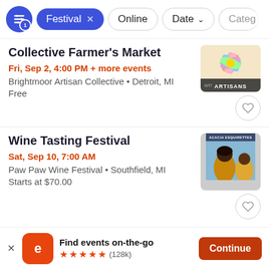Festival × | Online | Date ↓ | Catego…
Collective Farmer's Market
Fri, Sep 2, 4:00 PM + more events
Brightmoor Artisan Collective • Detroit, MI
Free
[Figure (photo): Colorful artisan market artwork with flower design and text ARTISANS]
Wine Tasting Festival
Sat, Sep 10, 7:00 AM
Paw Paw Wine Festival • Southfield, MI
Starts at $70.00
[Figure (photo): ACACIA ESQUIRETTES event photo showing people at an outdoor wine festival]
Find events on-the-go ★★★★★ (128k) Continue